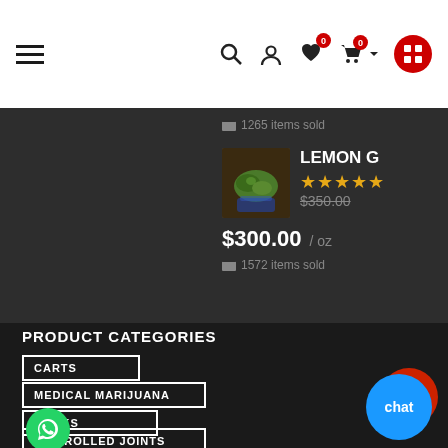Navigation bar with hamburger menu, search, profile, wishlist (0), cart (0), and grid icons
1265 items sold
LEMON G ★★★★★ $350.00 $300.00 / oz 1572 items sold
PRODUCT CATEGORIES
CARTS
MEDICAL MARIJUANA
ROCKS
PRE-ROLLED JOINTS